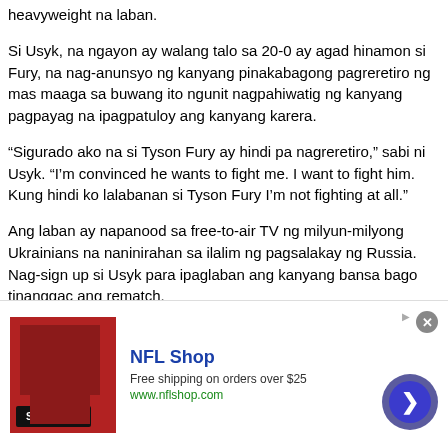heavyweight na laban.
Si Usyk, na ngayon ay walang talo sa 20-0 ay agad hinamon si Fury, na nag-anunsyo ng kanyang pinakabagong pagreretiro ng mas maaga sa buwang ito ngunit nagpahiwatig ng kanyang pagpayag na ipagpatuloy ang kanyang karera.
“Sigurado ako na si Tyson Fury ay hindi pa nagreretiro,” sabi ni Usyk. “I’m convinced he wants to fight me. I want to fight him. Kung hindi ko lalabanan si Tyson Fury I’m not fighting at all.”
Ang laban ay napanood sa free-to-air TV ng milyun-milyong Ukrainians na naninirahan sa ilalim ng pagsalakay ng Russia. Nag-sign up si Usyk para ipaglaban ang kanyang bansa bago tinanggac ang rematch.
infolinks ...ay ko ang tagumpay na ito sa aking bansa, sa
[Figure (advertisement): NFL Shop advertisement banner with red jersey image, 'SHOP NOW' button, free shipping offer, and a circular arrow navigation button]